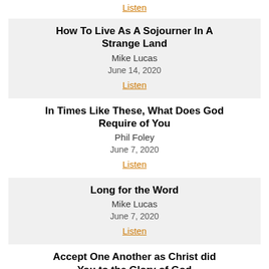Listen
How To Live As A Sojourner In A Strange Land
Mike Lucas
June 14, 2020
Listen
In Times Like These, What Does God Require of You
Phil Foley
June 7, 2020
Listen
Long for the Word
Mike Lucas
June 7, 2020
Listen
Accept One Another as Christ did You to the Glory of God
Phil Foley
May 31, 2020